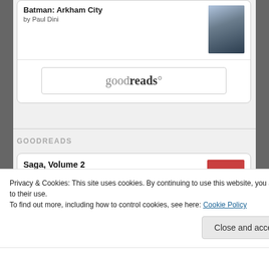Batman: Arkham City
by Paul Dini
[Figure (screenshot): Goodreads logo button with border]
GOODREADS
Saga, Volume 2
by Brian K. Vaughan
Vertigo
Privacy & Cookies: This site uses cookies. By continuing to use this website, you agree to their use.
To find out more, including how to control cookies, see here: Cookie Policy
Close and accept